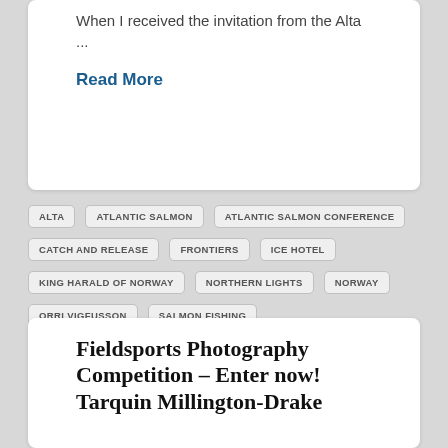When I received the invitation from the Alta ...
Read More
ALTA
ATLANTIC SALMON
ATLANTIC SALMON CONFERENCE
CATCH AND RELEASE
FRONTIERS
ICE HOTEL
KING Harald OF NORWAY
NORTHERN LIGHTS
NORWAY
ORRI VIGFUSSON
SALMON FISHING
SORRISNIVA IGLOO HOTEL
SPEY CASTING
Fieldsports Photography Competition – Enter now! Tarquin Millington-Drake